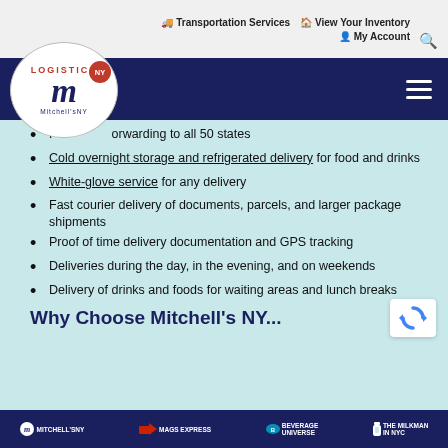Transportation Services  View Your Inventory  My Account
[Figure (logo): Mitchell's NY Logistics NY logo — oval white logo with red LOGISTICS text, large navy italic M, red NY badge, Mitchell'sNY text]
Forwarding to all 50 states
Cold overnight storage and refrigerated delivery for food and drinks
White-glove service for any delivery
Fast courier delivery of documents, parcels, and larger package shipments
Proof of time delivery documentation and GPS tracking
Deliveries during the day, in the evening, and on weekends
Delivery of drinks and foods for waiting areas and lunch breaks
Why Choose Mitchell's NY...
Mitchell'sNY  MAGS EXPRESS  BEVERAGE UNIVERSE  THE MILKMAN IN NYC